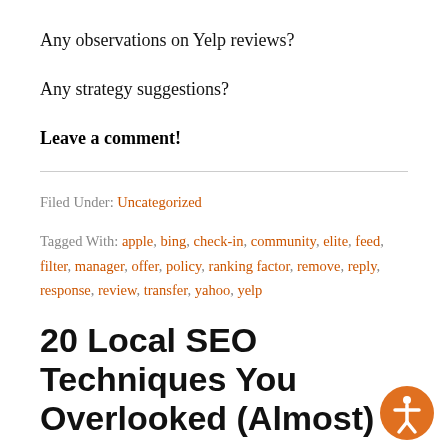Any observations on Yelp reviews?
Any strategy suggestions?
Leave a comment!
Filed Under: Uncategorized
Tagged With: apple, bing, check-in, community, elite, feed, filter, manager, offer, policy, ranking factor, remove, reply, response, review, transfer, yahoo, yelp
20 Local SEO Techniques You Overlooked (Almost)